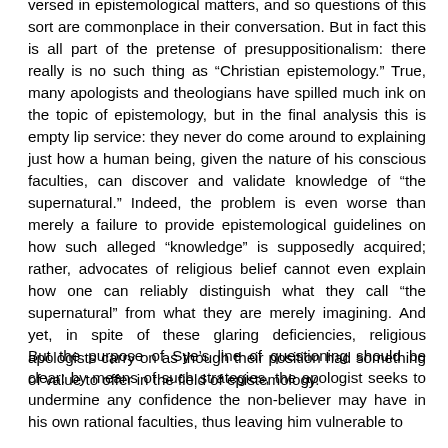versed in epistemological matters, and so questions of this sort are commonplace in their conversation. But in fact this is all part of the pretense of presuppositionalism: there really is no such thing as “Christian epistemology.” True, many apologists and theologians have spilled much ink on the topic of epistemology, but in the final analysis this is empty lip service: they never do come around to explaining just how a human being, given the nature of his conscious faculties, can discover and validate knowledge of “the supernatural.” Indeed, the problem is even worse than merely a failure to provide epistemological guidelines on how such alleged “knowledge” is supposedly acquired; rather, advocates of religious belief cannot even explain how one can reliably distinguish what they call “the supernatural” from what they are merely imagining. And yet, in spite of these glaring deficiencies, religious apologists carry on as though their position had something of value to offer in the field of epistemology.
But the purpose of Sye’s line of questioning should be clear: by means of such strategies, the apologist seeks to undermine any confidence the non-believer may have in his own rational faculties, thus leaving him vulnerable to